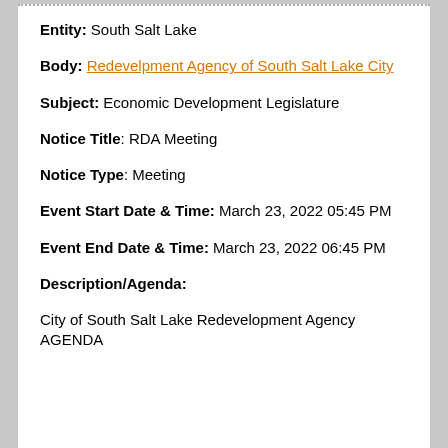Entity: South Salt Lake
Body: Redevelpment Agency of South Salt Lake City
Subject: Economic Development Legislature
Notice Title: RDA Meeting
Notice Type: Meeting
Event Start Date & Time: March 23, 2022 05:45 PM
Event End Date & Time: March 23, 2022 06:45 PM
Description/Agenda:
City of South Salt Lake Redevelopment Agency AGENDA